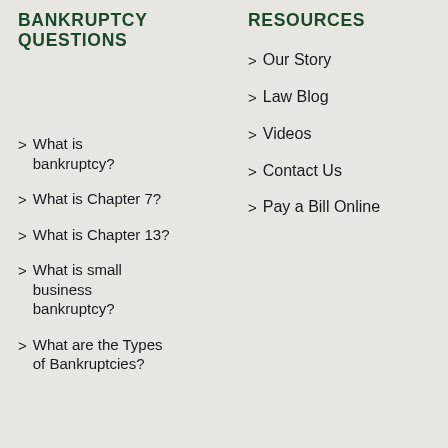BANKRUPTCY QUESTIONS
RESOURCES
What is bankruptcy?
Our Story
What is Chapter 7?
Law Blog
What is Chapter 13?
Videos
What is small business bankruptcy?
Contact Us
What are the Types of Bankruptcies?
Pay a Bill Online